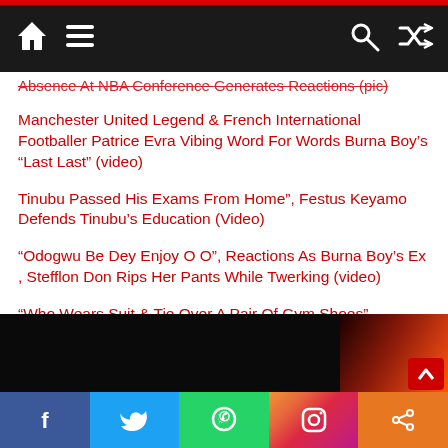Navigation bar with home, menu, search, and shuffle icons
Absence At NBA Conference Generates Reactions (pic)
Manchester United Legend & French International Footballer Patrice Evra Vibing Word For Words Burna Boy’s “Last Last” (video)
Tinubu Passed His Exams From Home”, Festus Keyamo Defends Tinubu’s Education (Video)
“Odogwu Be Dey Enjoy O O”, Reactions As Burna Boy’s Ex , Stefflon Don Rips Her Pants While Twerking (video)
“Who Wears Suit & Tie Over A Pair Of Gym Shoes”, Nigerians React To Funny Look Of Tinubu’s Running Mate, Kashim Shettima (pics)
[Figure (screenshot): Bottom partial image showing dark background with red/orange gradient accent]
Social sharing bar: Facebook, Twitter, WhatsApp, Instagram, Share